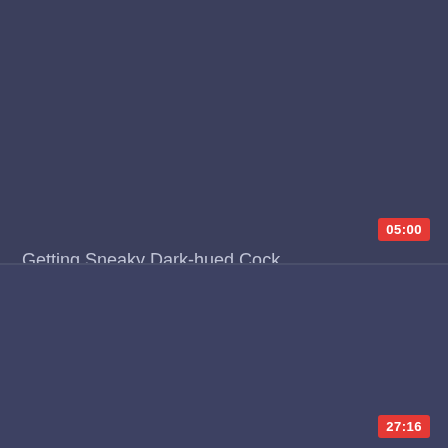[Figure (screenshot): Dark blue-gray video thumbnail placeholder for top video card]
05:00
Getting Sneaky Dark-hued Cock
[Figure (screenshot): Dark blue-gray video thumbnail placeholder for bottom video card]
27:16